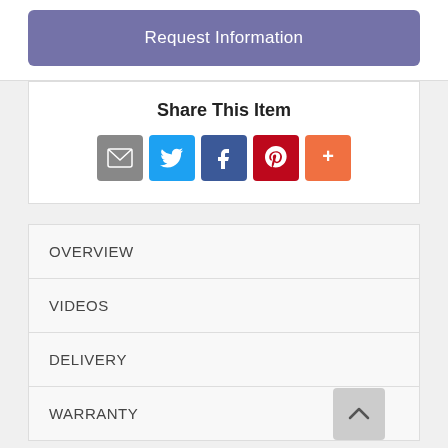Request Information
Share This Item
[Figure (infographic): Social sharing icons: email (gray), Twitter (blue), Facebook (blue), Pinterest (red), More (orange)]
OVERVIEW
VIDEOS
DELIVERY
WARRANTY